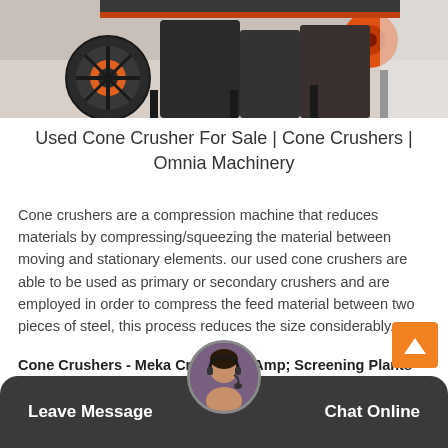[Figure (photo): Industrial cone crusher machinery with orange and black metal components, wheels, and frames in a factory/warehouse setting]
Used Cone Crusher For Sale | Cone Crushers | Omnia Machinery
Cone crushers are a compression machine that reduces materials by compressing/squeezing the material between moving and stationary elements. our used cone crushers are able to be used as primary or secondary crushers and are employed in order to compress the feed material between two pieces of steel, this process reduces the size considerably.
Cone Crushers - Meka Crushing &Amp; Screening Plants
Cone crushers have been used as primary, secondary and tertiary crushers for a long time. they are widely employed for crushing hard and abrasive
Leave Message   Chat Online